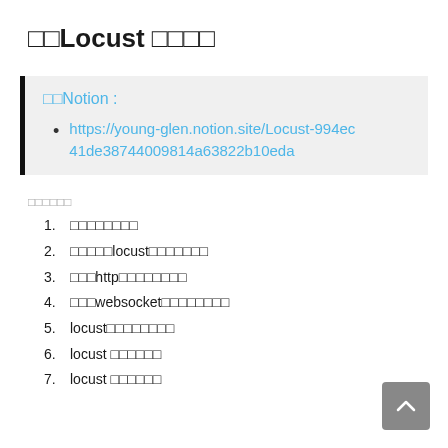□□Locust □□□□
□□Notion : https://young-glen.notion.site/Locust-994ec41de38744009814a63822b10eda
□□□□□□
1. □□□□□□□□
2. □□□□□locust□□□□□□□
3. □□□http□□□□□□□□
4. □□□websocket□□□□□□□□
5. locust□□□□□□□□
6. locust □□□□□□
7. locust □□□□□□